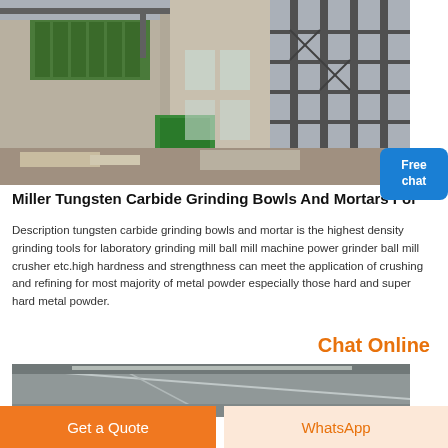[Figure (photo): Industrial facility with large metal scaffolding structures, green dust collectors, and construction debris on ground]
[Figure (illustration): Free chat badge with woman figure - blue rounded rectangle with 'Free chat' text]
Miller Tungsten Carbide Grinding Bowls And Mortars For
Description tungsten carbide grinding bowls and mortar is the highest density grinding tools for laboratory grinding mill ball mill machine power grinder ball mill crusher etc.high hardness and strengthness can meet the application of crushing and refining for most majority of metal powder especially those hard and super hard metal powder.
Chat Online
[Figure (photo): Interior industrial facility showing ceiling and structural elements]
Get a Quote
WhatsApp